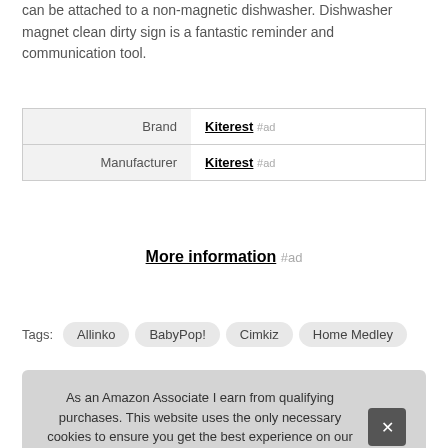can be attached to a non-magnetic dishwasher. Dishwasher magnet clean dirty sign is a fantastic reminder and communication tool.
| Brand | Kiterest #ad |
| Manufacturer | Kiterest #ad |
More information #ad
Tags: Allinko  BabyPop!  Cimkiz  Home Medley  K K...  Ste...
As an Amazon Associate I earn from qualifying purchases. This website uses the only necessary cookies to ensure you get the best experience on our website. More information